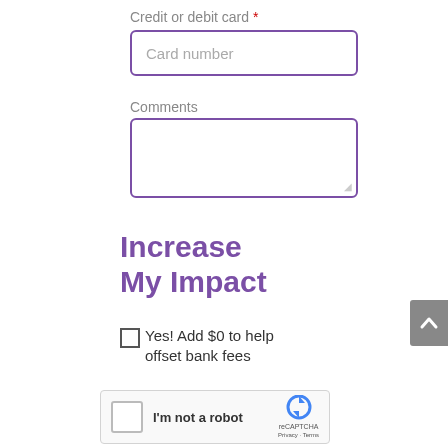Credit or debit card *
Card number
Comments
Increase My Impact
Yes! Add $0 to help offset bank fees
[Figure (screenshot): reCAPTCHA widget with checkbox and 'I'm not a robot' text, reCAPTCHA logo, Privacy and Terms links]